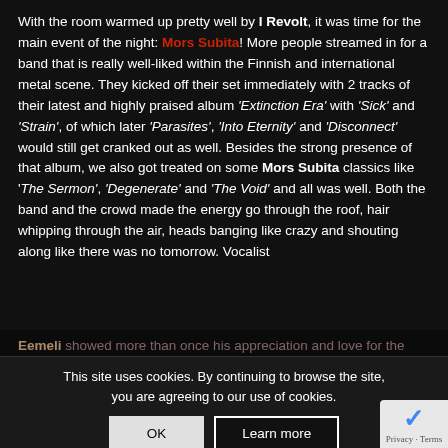With the room warmed up pretty well by I Revolt, it was time for the main event of the night: Mors Subita! More people streamed in for a band that is really well-liked within the Finnish and international metal scene. They kicked off their set immediately with 2 tracks of their latest and highly praised album 'Extinction Era' with 'Sick' and 'Strain', of which later 'Parasites', 'Into Eternity' and 'Disconnect' would still get cranked out as well. Besides the strong presence of that album, we also got treated on some Mors Subita classics like 'The Sermon', 'Degenerate' and 'The Void' and all was well. Both the band and the crowd made the energy go through the roof, hair whipping through the air, heads banging like crazy and shouting along like there was no tomorrow. Vocalist Eemeli showed more than once his appreciation and love for the fans who showed up tonight and it felt a bit like a celebration of old friends reuniting. Absolutely killer gig and hopefully a preview of more of this from now on!
This site uses cookies. By continuing to browse the site, you are agreeing to our use of cookies.